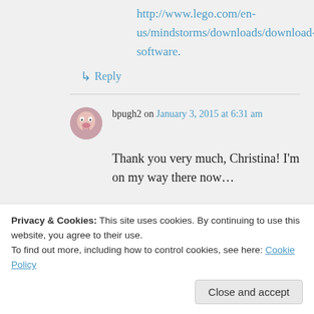http://www.lego.com/en-us/mindstorms/downloads/download-software.
↳ Reply
bpugh2 on January 3, 2015 at 6:31 am
Thank you very much, Christina! I'm on my way there now…
Privacy & Cookies: This site uses cookies. By continuing to use this website, you agree to their use.
To find out more, including how to control cookies, see here: Cookie Policy
Close and accept
I can't find the elephant program in